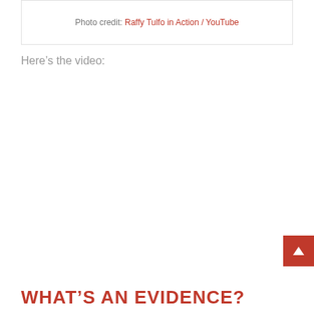Photo credit: Raffy Tulfo in Action / YouTube
Here’s the video:
WHAT’S AN EVIDENCE?